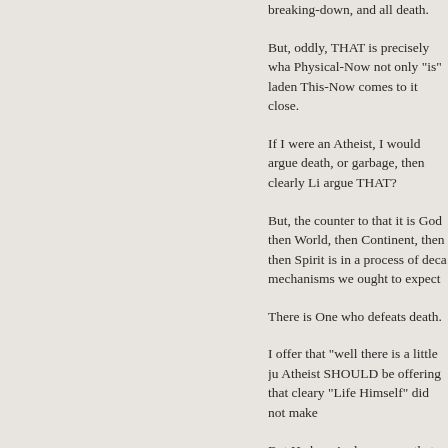breaking-down, and all death.
But, oddly, THAT is precisely wha Physical-Now not only "is" laden This-Now comes to it close.
If I were an Atheist, I would argue death, or garbage, then clearly Li argue THAT?
But, the counter to that it is God then World, then Continent, then then Spirit is in a process of deca mechanisms we ought to expect
There is One who defeats death.
I offer that "well there is a little ju Atheist SHOULD be offering that cleary "Life Himself" did not make
But He has. And some say that, g "meant" to "die". And, thus, we ca breaks us down" from the molecu THAT is God's own words on "de
The more Junk DNA there is, the